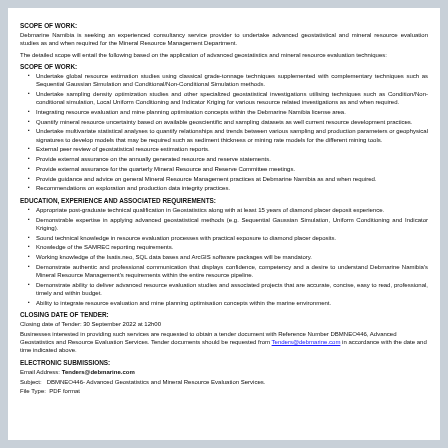SCOPE OF WORK:
Debmarine Namibia is seeking an experienced consultancy service provider to undertake advanced geostatistical and mineral resource evaluation studies as and when required for the Mineral Resource Management Department.
The detailed scope will entail the following based on the application of advanced geostatistics and mineral resource evaluation techniques:
SCOPE OF WORK:
Undertake global resource estimation studies using classical grade-tonnage techniques supplemented with complementary techniques such as Sequential Gaussian Simulation and Conditional/Non-Conditional Simulation methods.
Undertake sampling density optimization studies and other specialized geostatistical investigations utilising techniques such as Condition/Non-conditional simulation, Local Uniform Conditioning and Indicator Kriging for various resource related investigations as and when required.
Integrating resource evaluation and mine planning optimisation concepts within the Debmarine Namibia license area.
Quantify mineral resource uncertainty based on available geoscientific and sampling datasets as well current resource development practices.
Undertake multivariate statistical analyses to quantify relationships and trends between various sampling and production parameters or geophysical signatures to develop models that may be required such as sediment thickness or mining rate models for the different mining tools.
External peer review of geostatistical resource estimation reports.
Provide external assurance on the annually generated resource and reserve statements.
Provide external assurance for the quarterly Mineral Resource and Reserve Committee meetings.
Provide guidance and advice on general Mineral Resource Management practices at Debmarine Namibia as and when required.
Recommendations on exploration and production data integrity practices.
EDUCATION, EXPERIENCE AND ASSOCIATED REQUIREMENTS:
Appropriate post-graduate technical qualification in Geostatistics along with at least 15 years of diamond placer deposit experience.
Demonstrable expertise in applying advanced geostatistical methods (e.g. Sequential Gaussian Simulation, Uniform Conditioning and Indicator Kriging).
Sound technical knowledge in resource evaluation processes with practical exposure to diamond placer deposits.
Knowledge of the SAMREC reporting requirements.
Working knowledge of the Isatis.neo, SQL data bases and ArcGIS software packages will be mandatory.
Demonstrate authentic and professional communication that displays confidence, competency and a desire to understand Debmarine Namibia's Mineral Resource Management's requirements within the entire resource pipeline.
Demonstrate ability to deliver advanced resource evaluation studies and associated projects that are accurate, concise, easy to read, professional, timely and within budget.
Ability to integrate resource evaluation and mine planning optimisation concepts within the marine environment.
CLOSING DATE OF TENDER:
Closing date of Tender: 30 September 2022 at 12h00
Businesses interested in providing such services are requested to obtain a tender document with Reference Number DBMNEO446, Advanced Geostatistics and Resource Evaluation Services. Tender documents should be requested from Tenders@debmarine.com in accordance with the date and time indicated above.
ELECTRONIC SUBMISSIONS:
Email Address: Tenders@debmarine.com
Subject:   DBMNEO446- Advanced Geostatistics and Mineral Resource Evaluation Services.
File Type:  PDF format